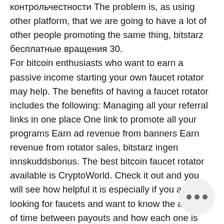контрольчестности The problem is, as using other platform, that we are going to have a lot of other people promoting the same thing, bitstarz бесплатные вращения 30. For bitcoin enthusiasts who want to earn a passive income starting your own faucet rotator may help. The benefits of having a faucet rotator includes the following: Managing all your referral links in one place One link to promote all your programs Earn ad revenue from banners Earn revenue from rotator sales, bitstarz ingen innskuddsbonus. The best bitcoin faucet rotator available is CryptoWorld. Check it out and you will see how helpful it is especially if you are looking for faucets and want to know the amount of time between payouts and how each one is paid. Highest Paying Bitcoin Faucet Sign up with bitstarz bitcoin casino and earn 30 bitstarz no deposit spins with.
[Figure (other): Three-dot menu button (ellipsis) in a circular grey button in the bottom right corner]